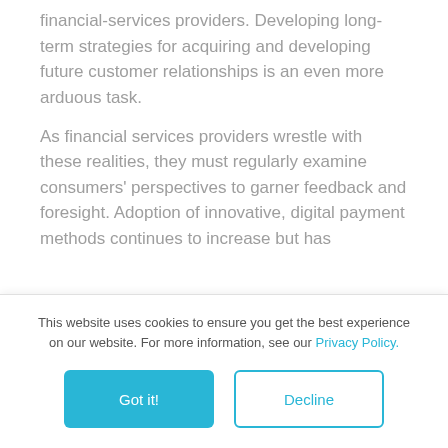financial-services providers. Developing long-term strategies for acquiring and developing future customer relationships is an even more arduous task.
As financial services providers wrestle with these realities, they must regularly examine consumers' perspectives to garner feedback and foresight. Adoption of innovative, digital payment methods continues to increase but has
This website uses cookies to ensure you get the best experience on our website. For more information, see our Privacy Policy.